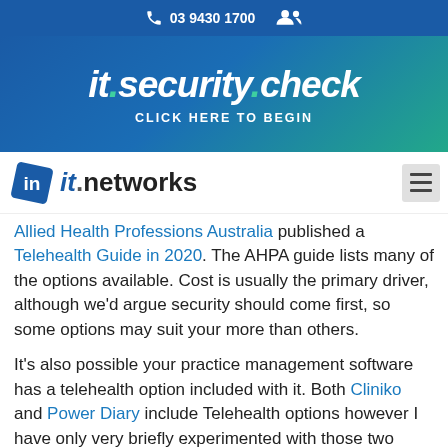📞 03 9430 1700 👥
[Figure (screenshot): it.security.check banner with CLICK HERE TO BEGIN subtitle on dark blue to teal gradient background]
[Figure (logo): it.networks logo with diamond IN icon]
Allied Health Professions Australia published a Telehealth Guide in 2020. The AHPA guide lists many of the options available. Cost is usually the primary driver, although we'd argue security should come first, so some options may suit your more than others.
It's also possible your practice management software has a telehealth option included with it. Both Cliniko and Power Diary include Telehealth options however I have only very briefly experimented with those two applications and have not tried the Telehealth option